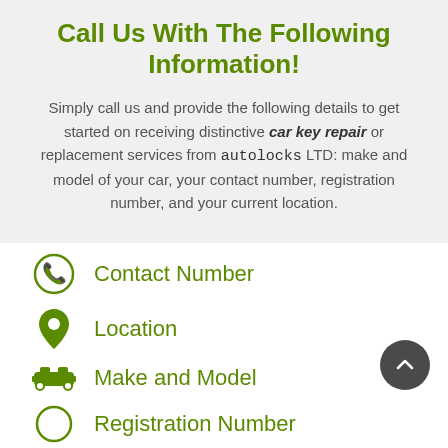Call Us With The Following Information!
Simply call us and provide the following details to get started on receiving distinctive car key repair or replacement services from autolocks LTD: make and model of your car, your contact number, registration number, and your current location.
Contact Number
Location
Make and Model
Registration Number